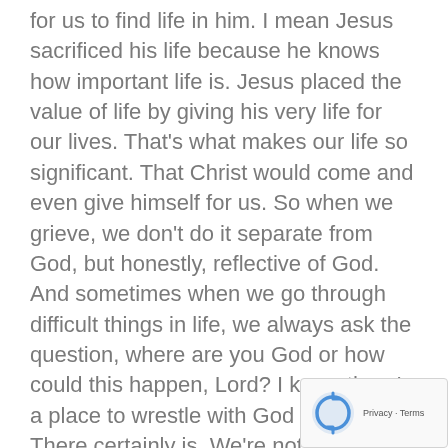for us to find life in him. I mean Jesus sacrificed his life because he knows how important life is. Jesus placed the value of life by giving his very life for our lives. That's what makes our life so significant. That Christ would come and even give himself for us. So when we grieve, we don't do it separate from God, but honestly, reflective of God. And sometimes when we go through difficult things in life, we always ask the question, where are you God or how could this happen, Lord? I know there's a place to wrestle with God in there. There certainly is. We're not experts of everything that we go through and asking that question, especially in those most vital points of life is crucial. It's important. We should do that, right? And I think it's also important to recognize that we also, we're not doing it sepa... from God because God's very heart is about life a...